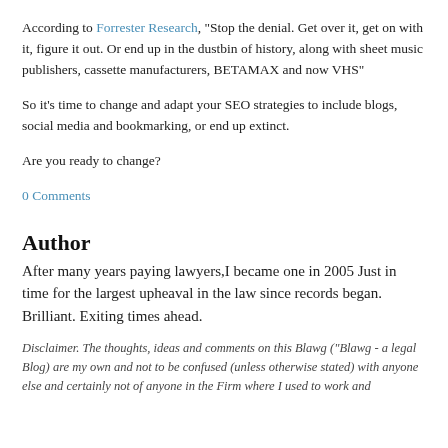According to Forrester Research, "Stop the denial. Get over it, get on with it, figure it out. Or end up in the dustbin of history, along with sheet music publishers, cassette manufacturers, BETAMAX and now VHS"
So it's time to change and adapt your SEO strategies to include blogs, social media and bookmarking, or end up extinct.
Are you ready to change?
0 Comments
Author
After many years paying lawyers,I became one in 2005 Just in time for the largest upheaval in the law since records began. Brilliant. Exiting times ahead.
Disclaimer.  The thoughts, ideas and comments on this Blawg ("Blawg - a legal Blog) are my own and not to be confused (unless otherwise stated) with anyone else and certainly not of anyone in the Firm where I used to work and